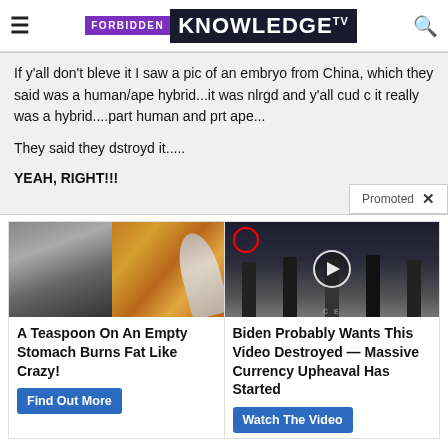FORBIDDEN KNOWLEDGE TV
If y'all don't bleve it I saw a pic of an embryo from China, which they said was a human/ape hybrid...it was nlrgd and y'all cud c it really was a hybrid....part human and prt ape...

They said they dstroyd it.....

YEAH, RIGHT!!!
[Figure (photo): Advertisement image: woman with abs and spoon with spices/powder]
A Teaspoon On An Empty Stomach Burns Fat Like Crazy!
Find Out More
[Figure (screenshot): Advertisement image: group of men in suits at CIA, with play button overlay]
Biden Probably Wants This Video Destroyed — Massive Currency Upheaval Has Started
Watch The Video